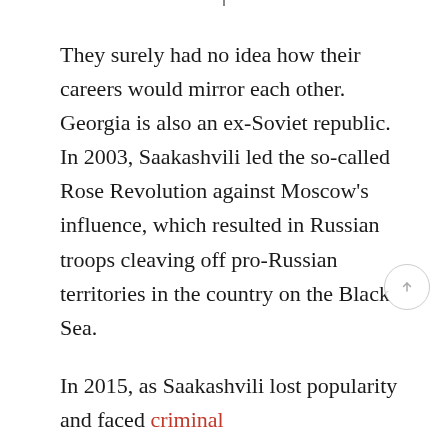They surely had no idea how their careers would mirror each other. Georgia is also an ex-Soviet republic. In 2003, Saakashvili led the so-called Rose Revolution against Moscow's influence, which resulted in Russian troops cleaving off pro-Russian territories in the country on the Black Sea.
In 2015, as Saakashvili lost popularity and faced criminal